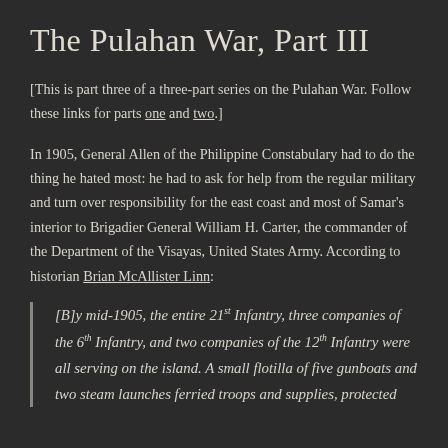The Pulahan War, Part III
[This is part three of a three-part series on the Pulahan War. Follow these links for parts one and two.]
In 1905, General Allen of the Philippine Constabulary had to do the thing he hated most: he had to ask for help from the regular military and turn over responsibility for the east coast and most of Samar's interior to Brigadier General William H. Carter, the commander of the Department of the Visayas, United States Army. According to historian Brian McAllister Linn:
[B]y mid-1905, the entire 21st Infantry, three companies of the 6th Infantry, and two companies of the 12th Infantry were all serving on the island. A small flotilla of five gunboats and two steam launches ferried troops and supplies, protected